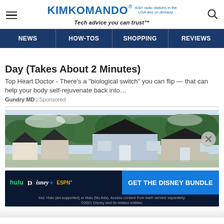KIM KOMANDO® 420+ radio stations in the USA and on demand Tech advice you can trust™
NEWS | HOW-TOS | SHOPPING | REVIEWS
Day (Takes About 2 Minutes)
Top Heart Doctor - There's a "biological switch" you can flip — that can help your body self-rejuvenate back into…
Gundry MD | Sponsored
[Figure (photo): Row of small modern houses/cabins with dark roofs, beige and blue siding, trees in background, bright sky]
[Figure (screenshot): Disney Bundle advertisement: hulu Disney+ ESPN+ logos on dark blue background with 'GET THE DISNEY BUNDLE' button in blue. Fine print: Incl. Hulu (ad-supported) or Hulu (No Ads). Access content from each service separately. ©2021 Disney and its related entities.]